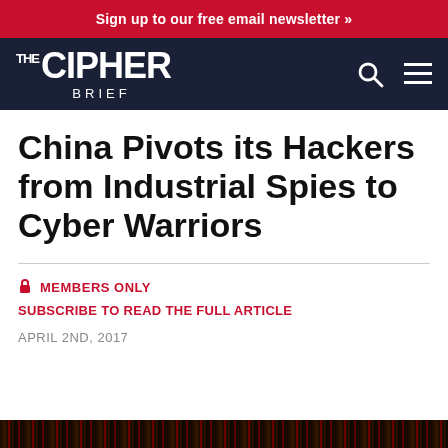Sign up to our free email newsletter »
[Figure (logo): The Cipher Brief logo with search and menu icons on dark navy background]
China Pivots its Hackers from Industrial Spies to Cyber Warriors
🔒 MEMBERS ONLY
SUBSCRIBE TO READ THE FULL ARTICLE
APRIL 2ND, 2017
[Figure (photo): Dark image strip at bottom of page]